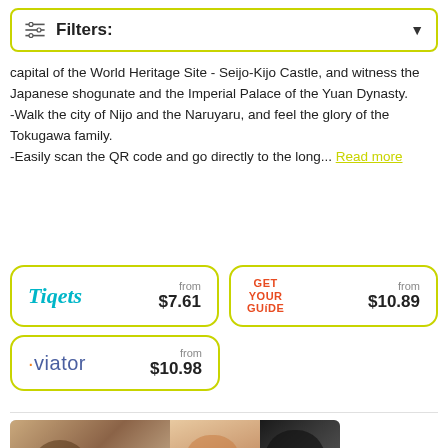Filters:
capital of the World Heritage Site - Seijo-Kijo Castle, and witness the Japanese shogunate and the Imperial Palace of the Yuan Dynasty.
-Walk the city of Nijo and the Naruyaru, and feel the glory of the Tokugawa family.
-Easily scan the QR code and go directly to the long... Read more
[Figure (infographic): Tiqets booking card showing price from $7.61]
[Figure (infographic): Get Your Guide booking card showing price from $10.89]
[Figure (infographic): Viator booking card showing price from $10.98]
[Figure (photo): Photo strip showing Japanese people in traditional clothing, performing or engaged in cultural activities]